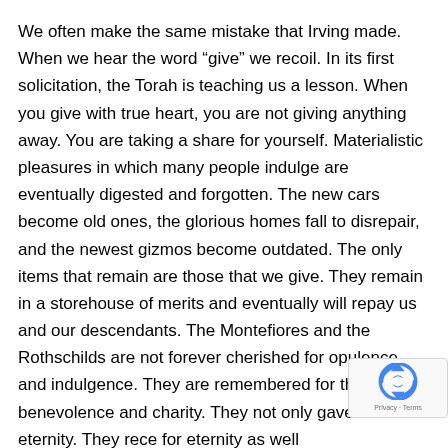We often make the same mistake that Irving made. When we hear the word “give” we recoil. In its first solicitation, the Torah is teaching us a lesson. When you give with true heart, you are not giving anything away. You are taking a share for yourself. Materialistic pleasures in which many people indulge are eventually digested and forgotten. The new cars become old ones, the glorious homes fall to disrepair, and the newest gizmos become outdated. The only items that remain are those that we give. They remain in a storehouse of merits and eventually will repay us and our descendants. The Montefiores and the Rothschilds are not forever cherished for opulence and indulgence. They are remembered for their great benevolence and charity. They not only gave for eternity. They rece for eternity as well